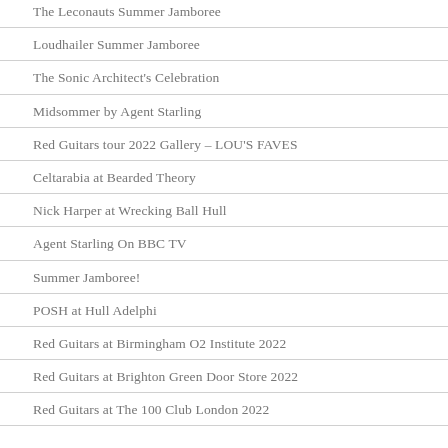The Leconauts Summer Jamboree
Loudhailer Summer Jamboree
The Sonic Architect's Celebration
Midsommer by Agent Starling
Red Guitars tour 2022 Gallery – LOU'S FAVES
Celtarabia at Bearded Theory
Nick Harper at Wrecking Ball Hull
Agent Starling On BBC TV
Summer Jamboree!
POSH at Hull Adelphi
Red Guitars at Birmingham O2 Institute 2022
Red Guitars at Brighton Green Door Store 2022
Red Guitars at The 100 Club London 2022